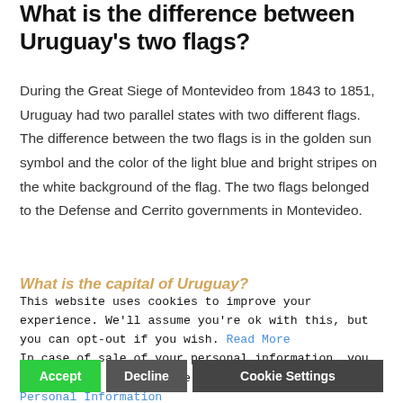What is the difference between Uruguay's two flags?
During the Great Siege of Montevideo from 1843 to 1851, Uruguay had two parallel states with two different flags. The difference between the two flags is in the golden sun symbol and the color of the light blue and bright stripes on the white background of the flag. The two flags belonged to the Defense and Cerrito governments in Montevideo.
What is the capital of Uruguay?
This website uses cookies to improve your experience. We'll assume you're ok with this, but you can opt-out if you wish. Read More
In case of sale of your personal information, you may opt out by using the link Do Not Sell My Personal Information
Montevideo is the capital and largest city of Uruguay.
Uruguay flag stock pictures, royalty-free photos & images. Flat and waving Uruguayan Flag. Vector Flat and waving Uruguayan Flag.
Accept   Decline   Cookie Settings